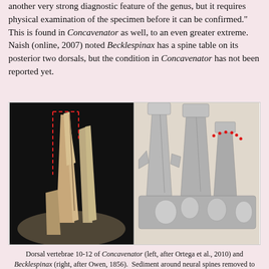another very strong diagnostic feature of the genus, but it requires physical examination of the specimen before it can be confirmed." This is found in Concavenator as well, to an even greater extreme. Naish (online, 2007) noted Becklespinax has a spine table on its posterior two dorsals, but the condition in Concavenator has not been reported yet.
[Figure (photo): Side-by-side comparison of dorsal vertebrae 10-12 of Concavenator (left, photograph on black background with red dashed line indicating possible real spine shape) and Becklespinax (right, scientific illustration showing neural spines with red dotted markers), after Ortega et al., 2010 and Owen, 1856 respectively.]
Dorsal vertebrae 10-12 of Concavenator (left, after Ortega et al., 2010) and Becklespinax (right, after Owen, 1856). Sediment around neural spines removed to show shape better. Red dotted line in Concavenator indicates possible real